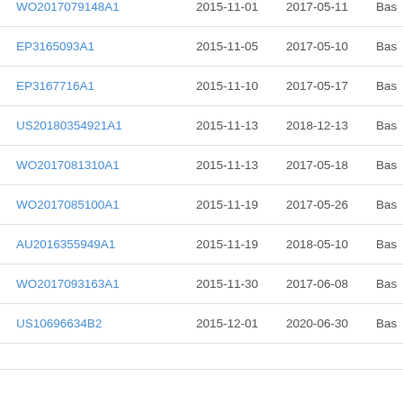| Publication | Filing Date | Publication Date | Type |
| --- | --- | --- | --- |
| WO2017079148A1 | 2015-11-01 | 2017-05-11 | Bas |
| EP3165093A1 | 2015-11-05 | 2017-05-10 | Bas |
| EP3167716A1 | 2015-11-10 | 2017-05-17 | Bas |
| US20180354921A1 | 2015-11-13 | 2018-12-13 | Bas |
| WO2017081310A1 | 2015-11-13 | 2017-05-18 | Bas |
| WO2017085100A1 | 2015-11-19 | 2017-05-26 | Bas |
| AU2016355949A1 | 2015-11-19 | 2018-05-10 | Bas |
| WO2017093163A1 | 2015-11-30 | 2017-06-08 | Bas |
| US10696634B2 | 2015-12-01 | 2020-06-30 | Bas |